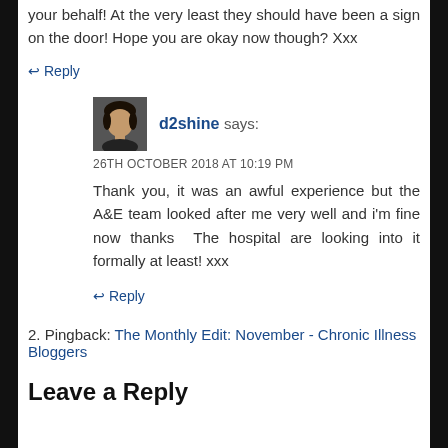your behalf! At the very least they should have been a sign on the door! Hope you are okay now though? Xxx
↩ Reply
d2shine says:
26TH OCTOBER 2018 AT 10:19 PM
Thank you, it was an awful experience but the A&E team looked after me very well and i'm fine now thanks The hospital are looking into it formally at least! xxx
↩ Reply
2. Pingback: The Monthly Edit: November - Chronic Illness Bloggers
Leave a Reply